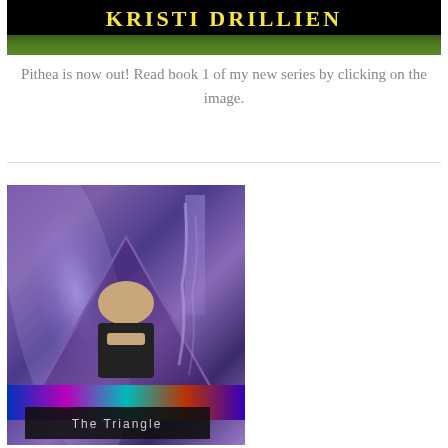[Figure (illustration): Book cover for a novel by Kristi Drillien showing author name in yellow letters on black background with grass landscape at bottom]
Pithea is now out! Read book 1 of my new series by clicking on the image.
[Figure (illustration): Book cover for 'The Triangle' showing a person resting their head on their hand inside a triangle outline, with purple/violet swirling background, lightning bolts, and colorful streaks at the bottom. Title 'The Triangle' shown in a dark bar at the bottom.]